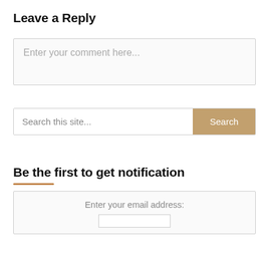Leave a Reply
Enter your comment here...
Search this site...
Be the first to get notification
Enter your email address: